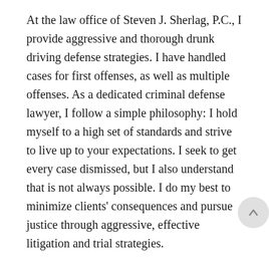At the law office of Steven J. Sherlag, P.C., I provide aggressive and thorough drunk driving defense strategies. I have handled cases for first offenses, as well as multiple offenses. As a dedicated criminal defense lawyer, I follow a simple philosophy: I hold myself to a high set of standards and strive to live up to your expectations. I seek to get every case dismissed, but I also understand that is not always possible. I do my best to minimize clients' consequences and pursue justice through aggressive, effective litigation and trial strategies.
Contact me today to schedule a